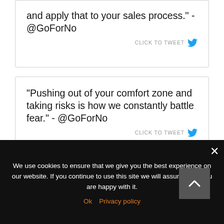and apply that to your sales process." - @GoForNo
CLICK TO TWEET
"Pushing out of your comfort zone and taking risks is how we constantly battle fear." - @GoForNo
CLICK TO TWEET
We use cookies to ensure that we give you the best experience on our website. If you continue to use this site we will assume that you are happy with it.
Ok   Privacy policy